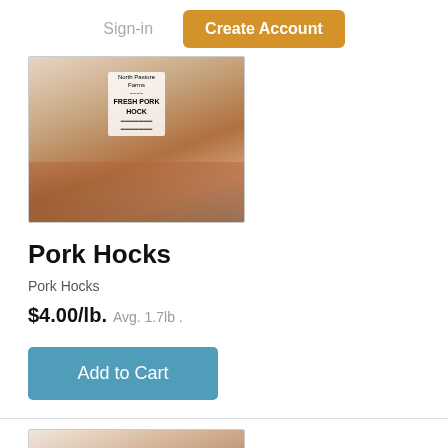Sign-in  Create Account
[Figure (photo): Packaged pork hock with North Pasture Farms label reading FRESH PORK HOCK]
Pork Hocks
Pork Hocks
$4.00/lb.  Avg. 1.7lb .
Add to Cart
[Figure (photo): Partially visible packaged meat product at bottom of page]